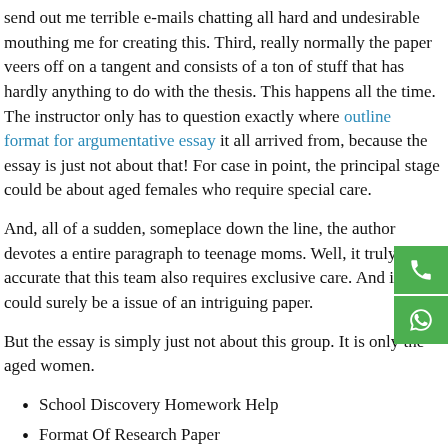send out me terrible e-mails chatting all hard and undesirable mouthing me for creating this. Third, really normally the paper veers off on a tangent and consists of a ton of stuff that has hardly anything to do with the thesis. This happens all the time. The instructor only has to question exactly where outline format for argumentative essay it all arrived from, because the essay is just not about that! For case in point, the principal stage could be about aged females who require special care.
And, all of a sudden, someplace down the line, the author devotes a entire paragraph to teenage moms. Well, it truly is accurate that this team also requires exclusive care. And it could surely be a issue of an intriguing paper.
But the essay is simply just not about this group. It is only the aged women.
School Discovery Homework Help
Format Of Research Paper
How To Write A Tinder Bio Woman
How To Write A Risk For Nursing Diagnosis
Help With Math Homework 4th Grade
Materials And Methods In Research Paper